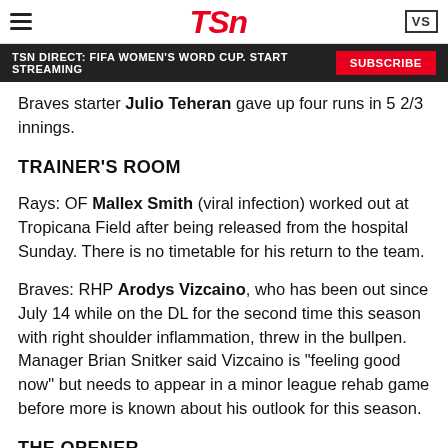TSN
TSN DIRECT: FIFA WOMEN'S WORD CUP. START STREAMING  SUBSCRIBE
Braves starter Julio Teheran gave up four runs in 5 2/3 innings.
TRAINER'S ROOM
Rays: OF Mallex Smith (viral infection) worked out at Tropicana Field after being released from the hospital Sunday. There is no timetable for his return to the team.
Braves: RHP Arodys Vizcaino, who has been out since July 14 while on the DL for the second time this season with right shoulder inflammation, threw in the bullpen. Manager Brian Snitker said Vizcaino is "feeling good now" but needs to appear in a minor league rehab game before more is known about his outlook for this season.
THE OPENER